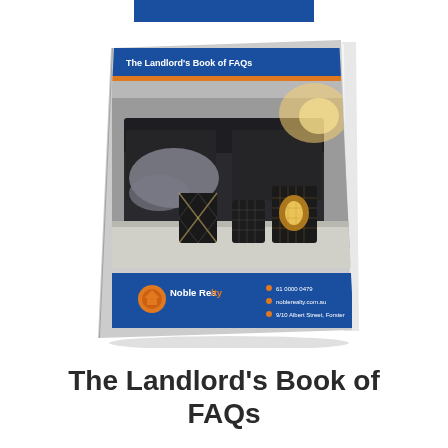[Figure (illustration): A booklet cover titled 'The Landlord's Book of FAQs' showing a living room interior with a dark sofa, decorative candle holders on a table, and a Noble Realty logo at the bottom. The cover has a blue header bar and blue footer bar with contact details.]
The Landlord's Book of FAQs